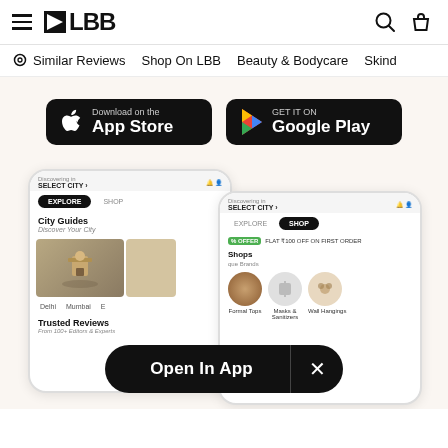LBB — hamburger menu, search and bag icons
Similar Reviews   Shop On LBB   Beauty & Bodycare   Skind...
[Figure (screenshot): Download on the App Store and GET IT ON Google Play buttons on a light beige background]
[Figure (screenshot): Two smartphone mockups showing LBB app screens with Explore/Shop tabs, City Guides, Delhi, Mumbai sections, Shops, Formal Tops, Masks & Sanitizers, Wall Hangings categories, and Trusted Reviews from 100+ Editors & Experts. An 'Open In App' modal overlay with X close button is shown at the bottom.]